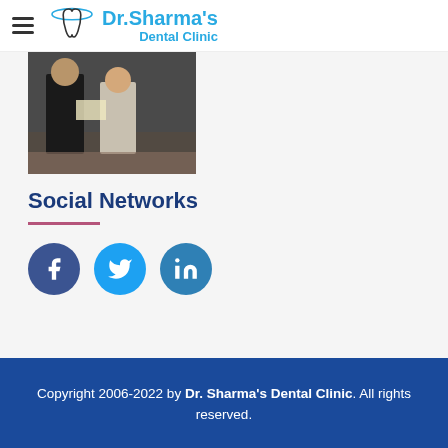Dr.Sharma's Dental Clinic
[Figure (photo): Two people standing, one handing a certificate to the other. Indoor setting.]
Social Networks
[Figure (infographic): Three social media icon circles: Facebook (dark blue), Twitter (light blue), LinkedIn (medium blue)]
Copyright 2006-2022 by Dr. Sharma's Dental Clinic. All rights reserved.